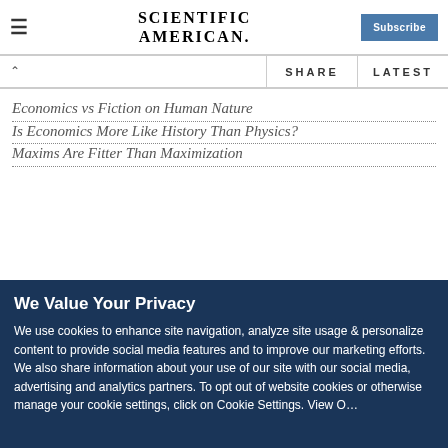SCIENTIFIC AMERICAN | Subscribe
SHARE | LATEST
Economics vs Fiction on Human Nature
Is Economics More Like History Than Physics?
Maxims Are Fitter Than Maximization
We Value Your Privacy
We use cookies to enhance site navigation, analyze site usage & personalize content to provide social media features and to improve our marketing efforts. We also share information about your use of our site with our social media, advertising and analytics partners. To opt out of website cookies or otherwise manage your cookie settings, click on Cookie Settings. View O…